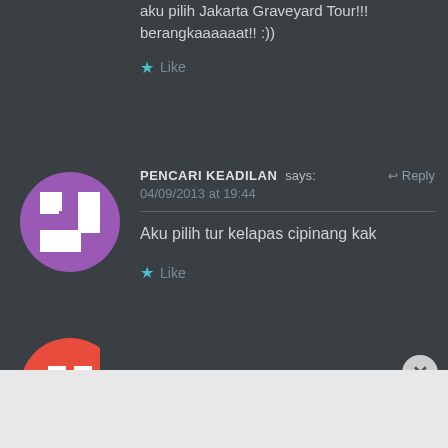aku pilih Jakarta Graveyard Tour!!!
berangkaaaaaat!! :))
★ Like
PENCARI KEADILAN says: ↩ Reply
04/09/2013 at 19:44
Aku pilih tur kelapas cipinang kak
★ Like
Advertisements
[Figure (screenshot): DuckDuckGo advertisement banner: orange background with text 'Search, browse, and email with more privacy. All in One Free App' and DuckDuckGo logo on dark right panel]